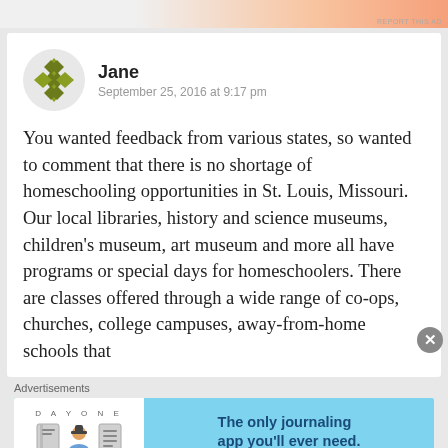[Figure (other): Top advertisement banner with orange gradient]
[Figure (illustration): User avatar — green diamond quilt pattern icon for user Jane]
Jane
September 25, 2016 at 9:17 pm
You wanted feedback from various states, so wanted to comment that there is no shortage of homeschooling opportunities in St. Louis, Missouri. Our local libraries, history and science museums, children's museum, art museum and more all have programs or special days for homeschoolers. There are classes offered through a wide range of co-ops, churches, college campuses, away-from-home schools that
Advertisements
[Figure (other): DAY ONE journaling app advertisement banner — blue background with app icons and text: The only journaling app you'll ever need.]